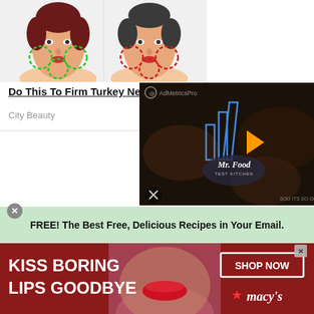[Figure (illustration): Two illustrated female faces side by side. Left face has green dashed circles on cheeks and chin area. Right face has red dashed circles on same areas, showing before/after concept for turkey neck treatment ad.]
Do This To Firm Turkey Neck
City Beauty
Open >
[Figure (screenshot): Video player showing Mr. Food Test Kitchen branded video with dark background, blue bar chart-like logo graphic with play button, and hands in background. AdMetricsPro watermark visible top left. Mute icon bottom left.]
FREE! The Best Free, Delicious Recipes in Your Email.
[Figure (photo): Advertisement for Macy's featuring a close-up of a woman's face with red lips. Text reads KISS BORING LIPS GOODBYE on the left and SHOP NOW with Macy's star logo on the right.]